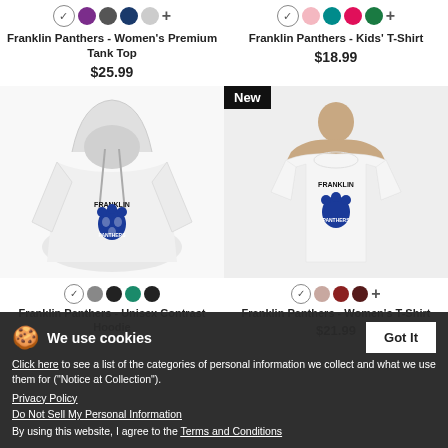[Figure (screenshot): Product listing page for Franklin Panthers merchandise showing tank top, kids t-shirt, unisex hoodie, and women's t-shirt with color swatches and prices]
Franklin Panthers - Women's Premium Tank Top
$25.99
Franklin Panthers - Kids' T-Shirt
$18.99
Franklin Panthers - Unisex Contrast Hoodie
Franklin Panthers - Women's T-Shirt
$21.99
We use cookies
Click here to see a list of the categories of personal information we collect and what we use them for ("Notice at Collection").
Privacy Policy
Do Not Sell My Personal Information
By using this website, I agree to the Terms and Conditions